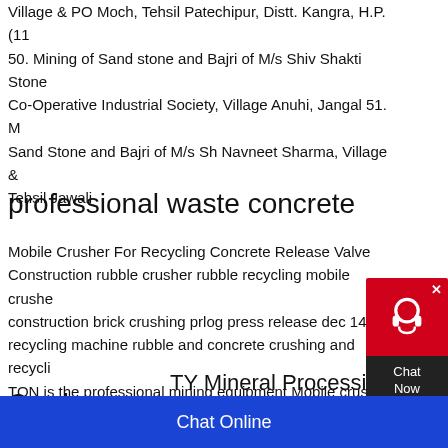Village & PO Moch, Tehsil Patechipur, Distt. Kangra, H.P. (11... 50. Mining of Sand stone and Bajri of M/s Shiv Shakti Stone Co-Operative Industrial Society, Village Anuhi, Jangal 51. Mining of Sand Stone and Bajri of M/s Sh Navneet Sharma, Village & Tehsil Jawali
professional waste concrete
Mobile Crusher For Recycling Concrete Release Valve Construction rubble crusher rubble recycling mobile crusher construction brick crushing prlog press release dec 14 2011 recycling machine rubble and concrete crushing and recycling TON is the professional mining equipment Mobile crusher for concrete
TY Mineral Processing C
Crusher
Chat Online